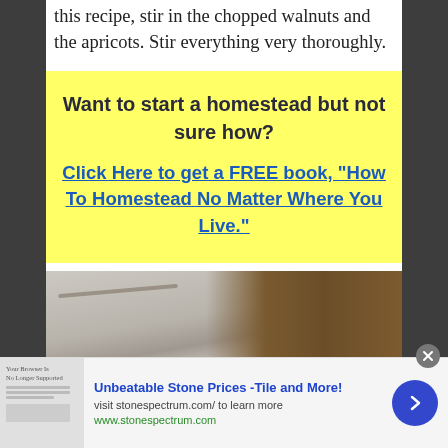this recipe, stir in the chopped walnuts and the apricots. Stir everything very thoroughly.
[Figure (infographic): Yellow box advertisement for a homestead book. Dark bold text: 'Want to start a homestead but not sure how?' followed by blue underlined link text: 'Click Here to get a FREE book, "How To Homestead No Matter Where You Live."']
[Figure (photo): Photo showing a baking pan with granola or nut mixture being spread out on a white surface, with a spatula or scraper tool visible.]
Unbeatable Stone Prices -Tile and More! visit stonespectrum.com/ to learn more www.stonespectrum.com